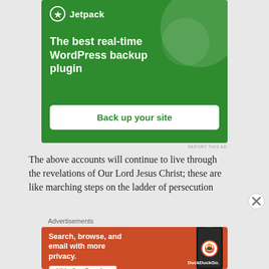[Figure (screenshot): Jetpack advertisement banner with green background. Shows Jetpack logo with lightning bolt icon, headline 'The best real-time WordPress backup plugin', and a white button 'Back up your site'.]
REPORT THIS AD
The above accounts will continue to live through the revelations of Our Lord Jesus Christ; these are like marching steps on the ladder of persecution
Advertisements
[Figure (screenshot): DuckDuckGo advertisement banner with orange background. Shows headline 'Search, browse, and email with more privacy.' with button 'All in One Free App' and a phone image with DuckDuckGo logo.]